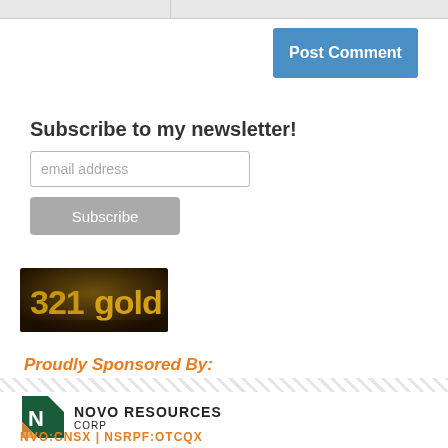[Figure (other): Post Comment button - blue rectangular button with white bold text]
Subscribe to my newsletter!
[Figure (other): Email address input field with placeholder text 'email address']
[Figure (other): Subscribe button - grey rectangular button with white text 'Subscribe']
[Figure (logo): 321gold logo - gold metallic text on dark background]
Proudly Sponsored By:
[Figure (logo): Novo Resources Corp logo with stylized N icon and company name text]